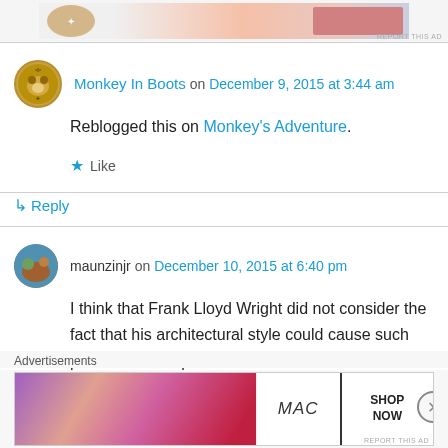[Figure (other): Top advertisement banner partially visible, with gradient peach/pink background and a logo on left side. 'REPORT THIS AD' text bottom right.]
Monkey In Boots on December 9, 2015 at 3:44 am
Reblogged this on Monkey's Adventure.
Like
Reply
maunzinjr on December 10, 2015 at 6:40 pm
I think that Frank Lloyd Wright did not consider the fact that his architectural style could cause such problems. Nice post!
Advertisements
[Figure (other): MAC cosmetics advertisement showing lipsticks in purple, peach, pink, and red colors with MAC logo and 'SHOP NOW' call to action box.]